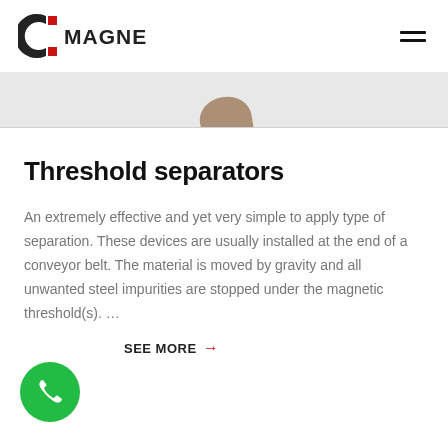[Figure (logo): Magnepol company logo with stylized C and red squares]
[Figure (photo): Partial view of a threshold separator device, top portion only visible]
Threshold separators
An extremely effective and yet very simple to apply type of separation. These devices are usually installed at the end of a conveyor belt. The material is moved by gravity and all unwanted steel impurities are stopped under the magnetic threshold(s). …
SEE MORE →